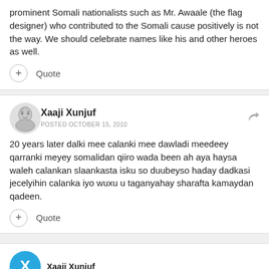prominent Somali nationalists such as Mr. Awaale (the flag designer) who contributed to the Somali cause positively is not the way. We should celebrate names like his and other heroes as well.
+ Quote
Xaaji Xunjuf
POSTED OCTOBER 15, 2010
20 years later dalki mee calanki mee dawladi meedeey qarranki meyey somalidan qiiro wada been ah aya haysa waleh calankan slaankasta isku so duubeyso haday dadkasi jecelyihin calanka iyo wuxu u taganyahay sharafta kamaydan qadeen.
+ Quote
Xaaji Xunjuf (partial)